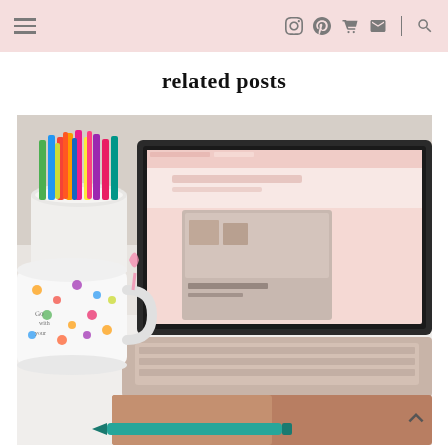navigation header with hamburger menu and social icons
related posts
[Figure (photo): A laptop on a desk showing a pink blog website, with a cup full of colorful markers and a polka-dot mug beside it, and a teal pen on a notebook in the foreground]